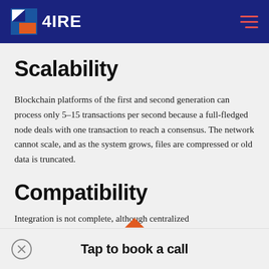4IRE
Scalability
Blockchain platforms of the first and second generation can process only 5–15 transactions per second because a full-fledged node deals with one transaction to reach a consensus. The network cannot scale, and as the system grows, files are compressed or old data is truncated.
Compatibility
Integration is not complete, although centralized
Tap to book a call